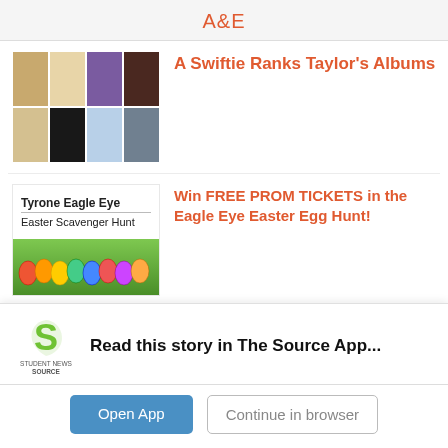A&E
A Swiftie Ranks Taylor's Albums
[Figure (photo): Grid of Taylor Swift album covers]
Win FREE PROM TICKETS in the Eagle Eye Easter Egg Hunt!
[Figure (photo): Tyrone Eagle Eye Easter Scavenger Hunt image with colorful Easter eggs on grass]
Sneak Peek: You're a Good Man Charlie Brown
[Figure (photo): Concert/performance photo with people raising arms under stage lights]
Read this story in The Source App...
Open App
Continue in browser